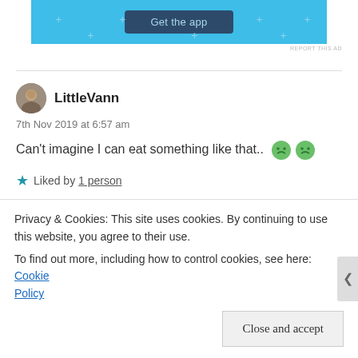[Figure (screenshot): App advertisement banner with 'Get the app' button on light blue background with decorative plus signs]
REPORT THIS AD
LittleVann
7th Nov 2019 at 6:57 am
Can't imagine I can eat something like that.. 😠😠
★ Liked by 1 person
REPLY
Privacy & Cookies: This site uses cookies. By continuing to use this website, you agree to their use.
To find out more, including how to control cookies, see here: Cookie Policy
Close and accept